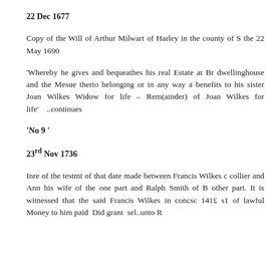22 Dec 1677
Copy of the Will of Arthur Milwart of Harley in the county of S the 22 May 1690
'Whereby he gives and bequeathes his real Estate at Br dwellinghouse and the Mesue therto belonging or in any way a benefits to his sister Joan Wilkes Widow for life – Rem(ainder) of Joan Wilkes for life'    ..continues
'No 9 '
23rd Nov 1736
Inre of the testmt of that date made between Francis Wilkes c collier and Ann his wife of the one part and Ralph Smith of B other part. It is witnessed that the said Francis Wilkes in concsc 141£ s1 of lawful Money to him paid  Did grant  sel..unto R